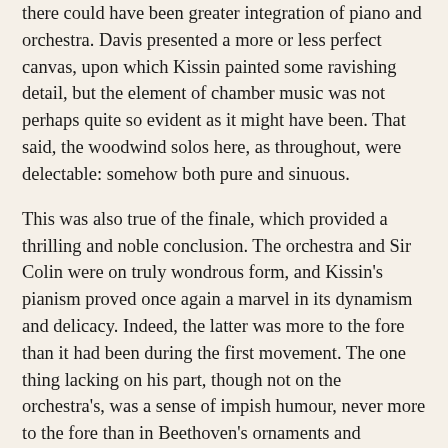there could have been greater integration of piano and orchestra. Davis presented a more or less perfect canvas, upon which Kissin painted some ravishing detail, but the element of chamber music was not perhaps quite so evident as it might have been. That said, the woodwind solos here, as throughout, were delectable: somehow both pure and sinuous.
This was also true of the finale, which provided a thrilling and noble conclusion. The orchestra and Sir Colin were on truly wondrous form, and Kissin's pianism proved once again a marvel in its dynamism and delicacy. Indeed, the latter was more to the fore than it had been during the first movement. The one thing lacking on his part, though not on the orchestra's, was a sense of impish humour, never more to the fore than in Beethoven's ornaments and syncopations. I am not sure that Kissin 'does' humour, but this was a minor drawback in a truly heroic account, by far the best I have ever heard 'live'.
Such a performance augured well for the second half of the concert, and we were not to be disappointed. The Eroica is a highlight of Davis's very fine set of Beethoven symphonies with the Staatskapelle Dresden, and this performance was at least as fine. From the thunderclap of the opening dissonances to the heroic close,